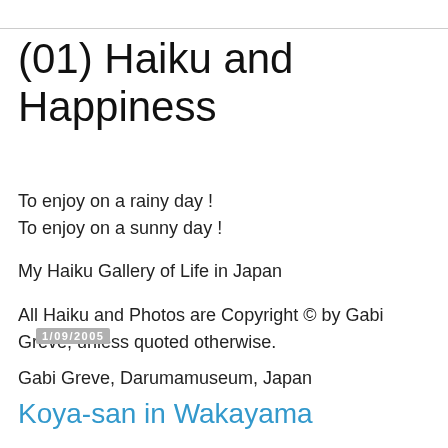(01) Haiku and Happiness
To enjoy on a rainy day !
To enjoy on a sunny day !
My Haiku Gallery of Life in Japan
All Haiku and Photos are Copyright © by Gabi Greve, unless quoted otherwise.
Gabi Greve, Darumamuseum, Japan
1/09/2005
Koya-san in Wakayama